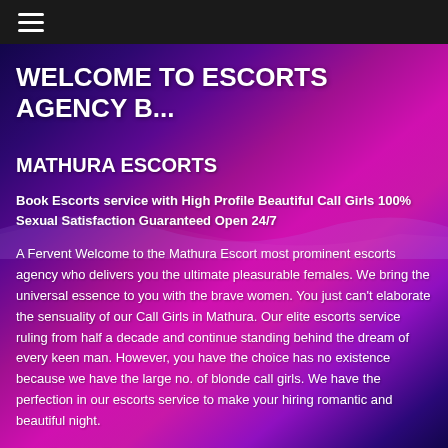≡ (navigation hamburger menu)
WELCOME TO ESCORTS AGENCY B...
MATHURA ESCORTS
Book Escorts service with High Profile Beautiful Call Girls 100% Sexual Satisfaction Guaranteed Open 24/7
A Fervent Welcome to the Mathura Escort most prominent escorts agency who delivers you the ultimate pleasurable females. We bring the universal essence to you with the brave women. You just can't elaborate the sensuality of our Call Girls in Mathura. Our elite escorts service ruling from half a decade and continue standing behind the dream of every keen man. However, you have the choice has no existence because we have the large no. of blonde call girls. We have the perfection in our escorts service to make your hiring romantic and beautiful night.
Elite Escorts Experience with Female Mathura Call Girls Service